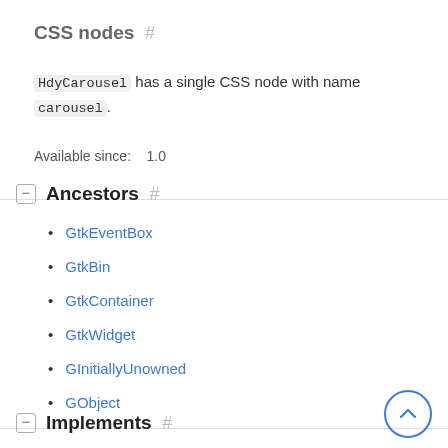CSS nodes #
HdyCarousel has a single CSS node with name carousel.
Available since: 1.0
Ancestors #
GtkEventBox
GtkBin
GtkContainer
GtkWidget
GInitiallyUnowned
GObject
Implements #